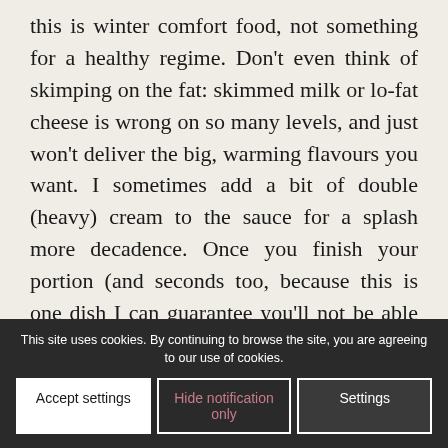this is winter comfort food, not something for a healthy regime. Don't even think of skimping on the fat: skimmed milk or lo-fat cheese is wrong on so many levels, and just won't deliver the big, warming flavours you want. I sometimes add a bit of double (heavy) cream to the sauce for a splash more decadence. Once you finish your portion (and seconds too, because this is one dish I can guarantee you'll not be able to resist more of) you can always do something wholesome and virtuous, like taking a long walk in the park, or climbing a hill. You'll be ready for anything. Except, perhaps, dessert.
This site uses cookies. By continuing to browse the site, you are agreeing to our use of cookies.
Accept settings | Hide notification only | Settings